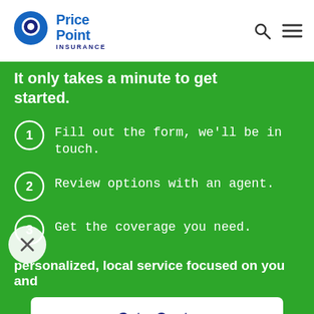[Figure (logo): Price Point Insurance logo with blue map pin icon and text 'Price Point Insurance']
It only takes a minute to get started.
1. Fill out the form, we'll be in touch.
2. Review options with an agent.
3. Get the coverage you need.
personalized, local service focused on you and
Get a Quote
Contact Us